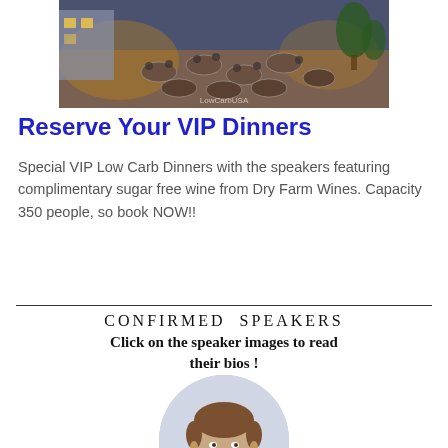[Figure (photo): Aerial/overhead view of an outdoor evening event with round dining tables, people seated, warm ambient lighting, trees and terrace visible. Watermark reads LowCarbUSA.]
Reserve Your VIP Dinners
Special VIP Low Carb Dinners with the speakers featuring complimentary sugar free wine from Dry Farm Wines. Capacity 350 people, so book NOW!!
CONFIRMED SPEAKERS
Click on the speaker images to read their bios !
[Figure (photo): Circular portrait photo of a middle-aged man with short brown hair, smiling slightly, wearing a dark suit jacket.]